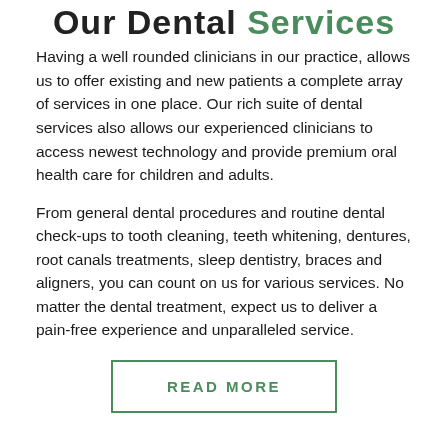Our Dental Services
Having a well rounded clinicians in our practice, allows us to offer existing and new patients a complete array of services in one place. Our rich suite of dental services also allows our experienced clinicians to access newest technology and provide premium oral health care for children and adults.
From general dental procedures and routine dental check-ups to tooth cleaning, teeth whitening, dentures, root canals treatments, sleep dentistry, braces and aligners, you can count on us for various services. No matter the dental treatment, expect us to deliver a pain-free experience and unparalleled service.
READ MORE